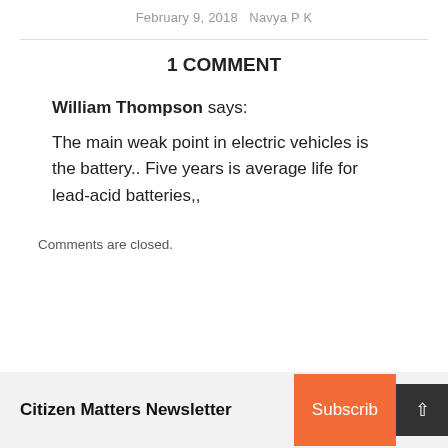February 9, 2018   Navya P K
1 COMMENT
William Thompson says:
The main weak point in electric vehicles is the battery.. Five years is average life for lead-acid batteries,,
Comments are closed.
Citizen Matters Newsletter  Subscribe